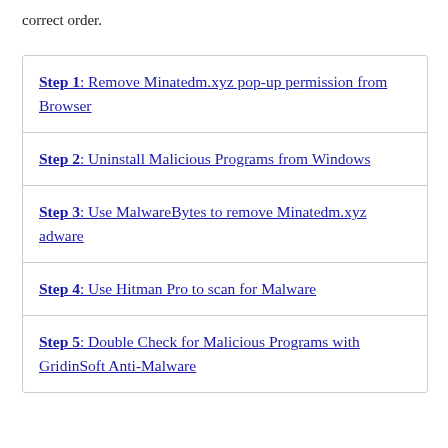correct order.
Step 1: Remove Minatedm.xyz pop-up permission from Browser
Step 2: Uninstall Malicious Programs from Windows
Step 3: Use MalwareBytes to remove Minatedm.xyz adware
Step 4: Use Hitman Pro to scan for Malware
Step 5: Double Check for Malicious Programs with GridinSoft Anti-Malware